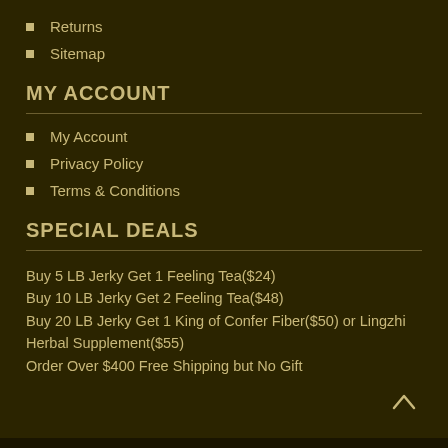Returns
Sitemap
MY ACCOUNT
My Account
Privacy Policy
Terms & Conditions
SPECIAL DEALS
Buy 5 LB Jerky Get 1 Feeling Tea($24)
Buy 10 LB Jerky Get 2 Feeling Tea($48)
Buy 20 LB Jerky Get 1 King of Confer Fiber($50) or Lingzhi Herbal Supplement($55)
Order Over $400 Free Shipping but No Gift